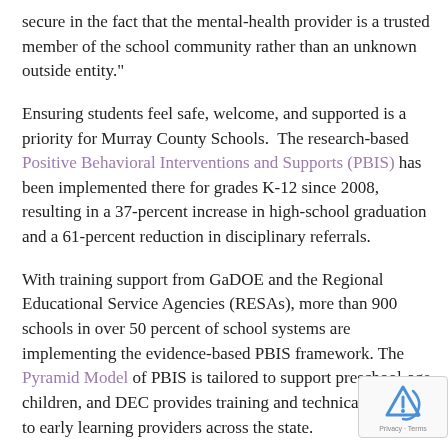secure in the fact that the mental-health provider is a trusted member of the school community rather than an unknown outside entity."
Ensuring students feel safe, welcome, and supported is a priority for Murray County Schools. The research-based Positive Behavioral Interventions and Supports (PBIS) has been implemented there for grades K-12 since 2008, resulting in a 37-percent increase in high-school graduation and a 61-percent reduction in disciplinary referrals.
With training support from GaDOE and the Regional Educational Service Agencies (RESAs), more than 900 schools in over 50 percent of school systems are implementing the evidence-based PBIS framework. The Pyramid Model of PBIS is tailored to support preschool-age children, and DEC provides training and technical assistance to early learning providers across the state.